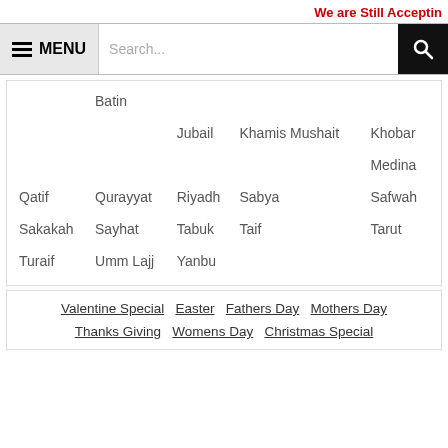We are Still Acceptin
Batin
Jubail
Khamis Mushait
Khobar
Medina
Qatif
Qurayyat
Riyadh
Sabya
Safwah
Sakakah
Sayhat
Tabuk
Taif
Tarut
Turaif
Umm Lajj
Yanbu
Valentine Special   Easter   Fathers Day   Mothers Day   Thanks Giving   Womens Day   Christmas Special